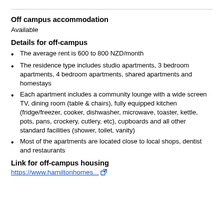Off campus accommodation
Available
Details for off-campus
The average rent is 600 to 800 NZD/month
The residence type includes studio apartments, 3 bedroom apartments, 4 bedroom apartments, shared apartments and homestays
Each apartment includes a community lounge with a wide screen TV, dining room (table & chairs), fully equipped kitchen (fridge/freezer, cooker, dishwasher, microwave, toaster, kettle, pots, pans, crockery, cutlery, etc), cupboards and all other standard facilities (shower, toilet, vanity)
Most of the apartments are located close to local shops, dentist and restaurants
Link for off-campus housing
https://www.hamiltonhomes...